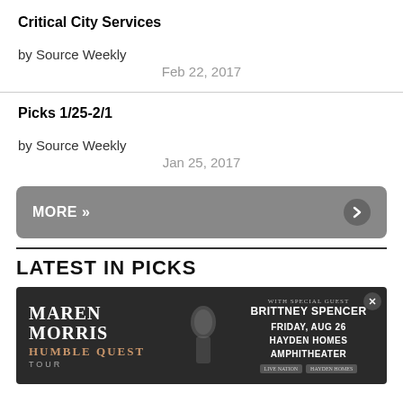Critical City Services
by Source Weekly
Feb 22, 2017
Picks 1/25-2/1
by Source Weekly
Jan 25, 2017
MORE »
LATEST IN PICKS
[Figure (photo): Advertisement for Maren Morris Humble Quest Tour with special guest Brittney Spencer, Friday Aug 26, Hayden Homes Amphitheater, Live Nation]